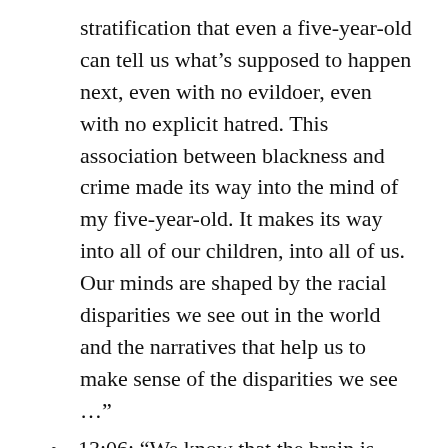stratification that even a five-year-old can tell us what's supposed to happen next, even with no evildoer, even with no explicit hatred. This association between blackness and crime made its way into the mind of my five-year-old. It makes its way into all of our children, into all of us. Our minds are shaped by the racial disparities we see out in the world and the narratives that help us to make sense of the disparities we see …”
13:06: “We know that the brain is wired for bias, and one way to interrupt that bias is to pause and to reflect on the evidence of our assumptions.”
Some people are racists. I’ve met people like that. However, Professor Eberhardt believes the very